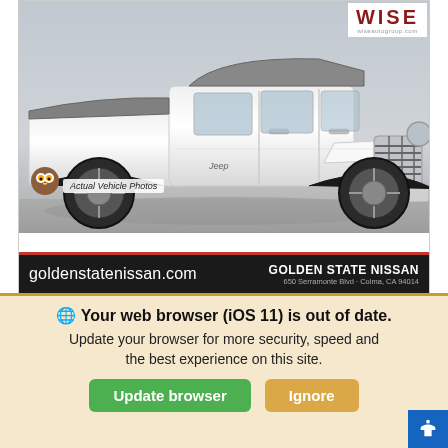[Figure (photo): White Jeep Gladiator truck on gray background, dealer advertisement for Golden State Nissan. WISE logo in top right corner. Owl mascot icon with 'Actual Vehicle Photos' badge. Dealership bar at bottom with website goldenstatenissan.com and address 650 Serramonte Blvd, Colma, CA 94014.]
We use cookies to optimize our website and our service.
Cookie Policy   Privacy Statement
Your web browser (iOS 11) is out of date. Update your browser for more security, speed and the best experience on this site.
Update browser   Ignore